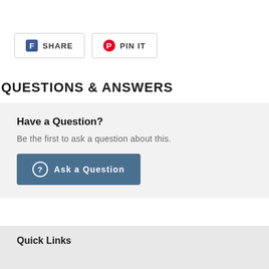[Figure (other): Facebook Share button and Pinterest Pin It button]
QUESTIONS & ANSWERS
Have a Question?
Be the first to ask a question about this.
[Figure (other): Ask a Question button]
Quick Links